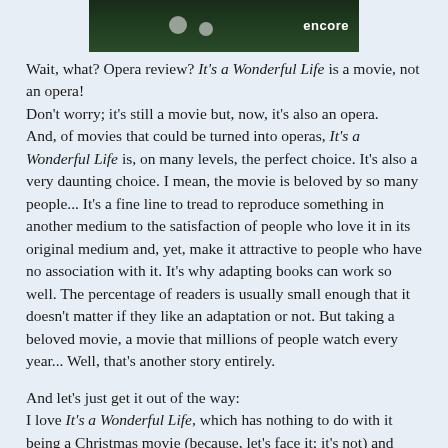[Figure (photo): Partial image of an Encore channel/program branding graphic with dark green background and the word 'encore' in white text, with circular light elements.]
Wait, what? Opera review? It's a Wonderful Life is a movie, not an opera!
Don't worry; it's still a movie but, now, it's also an opera.
And, of movies that could be turned into operas, It's a Wonderful Life is, on many levels, the perfect choice. It's also a very daunting choice. I mean, the movie is beloved by so many people... It's a fine line to tread to reproduce something in another medium to the satisfaction of people who love it in its original medium and, yet, make it attractive to people who have no association with it. It's why adapting books can work so well. The percentage of readers is usually small enough that it doesn't matter if they like an adaptation or not. But taking a beloved movie, a movie that millions of people watch every year... Well, that's another story entirely.
And let's just get it out of the way:
I love It's a Wonderful Life, which has nothing to do with it being a Christmas movie (because, let's face it; it's not) and everything to do with loving Jimmy Stewart. And this isn't even my favorite